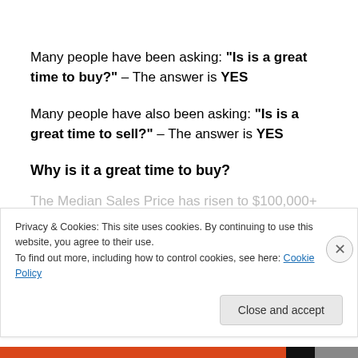Many people have been asking: “Is is a great time to buy?” – The answer is YES
Many people have also been asking: “Is is a great time to sell?” – The answer is YES
Why is it a great time to buy?
Privacy & Cookies: This site uses cookies. By continuing to use this website, you agree to their use.
To find out more, including how to control cookies, see here: Cookie Policy